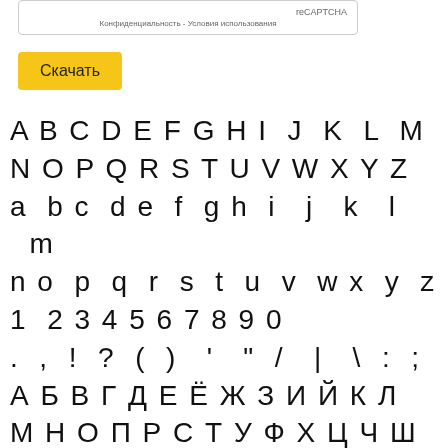[Figure (screenshot): reCAPTCHA widget box showing 'reCAPTCHA' branding and privacy/terms text in Russian: 'Конфиденциальность - Условия использования']
Скачать
A B C D E F G H I J K L M
N O P Q R S T U V W X Y Z
a b c d e f g h i j k l m
n o p q r s t u v w x y z
1 2 3 4 5 6 7 8 9 0
. , ! ? ( ) ' " / | \ : ;
А Б В Г Д Е Ё Ж З И Й К Л
М Н О П Р С Т У Ф Х Ц Ч Ш
Щ Ъ Ы Ь Э Ю Я